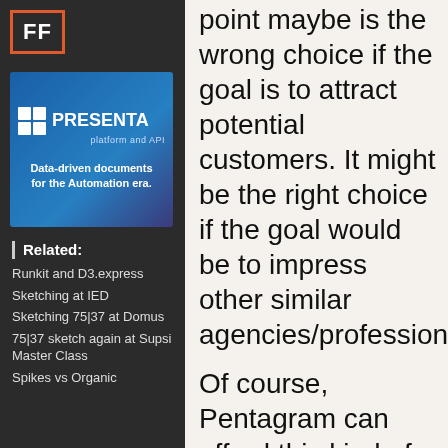[Figure (logo): FF logo in orange border on dark background]
[Figure (illustration): PRESENTA platform and API advertisement banner — Data-driven documents for the Automation era.]
Related:
Runkit and D3.express
Sketching at IED
Sketching 75|37 at Domus
75|37 sketch again at Supsi Master Class
Spikes vs Organic
point maybe is the wrong choice if the goal is to attract potential customers. It might be the right choice if the goal would be to impress other similar agencies/professional
Of course, Pentagram can afford this kind of structure thanks to their portfolio which is vast